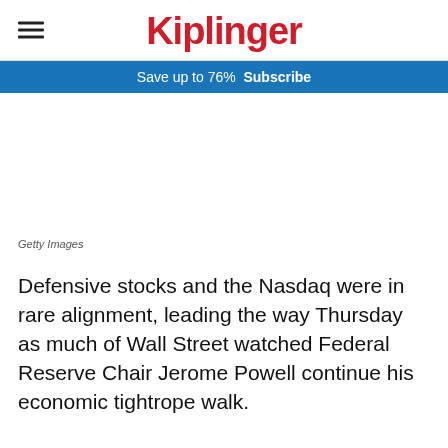Kiplinger
Save up to 76%  Subscribe
[Figure (photo): Blank/white image placeholder area with Getty Images credit below]
Getty Images
Defensive stocks and the Nasdaq were in rare alignment, leading the way Thursday as much of Wall Street watched Federal Reserve Chair Jerome Powell continue his economic tightrope walk.